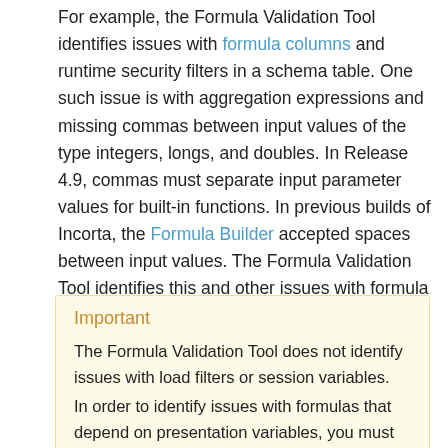For example, the Formula Validation Tool identifies issues with formula columns and runtime security filters in a schema table. One such issue is with aggregation expressions and missing commas between input values of the type integers, longs, and doubles. In Release 4.9, commas must separate input parameter values for built-in functions. In previous builds of Incorta, the Formula Builder accepted spaces between input values. The Formula Validation Tool identifies this and other issues with formula expression syntax.
Important
The Formula Validation Tool does not identify issues with load filters or session variables. In order to identify issues with formulas that depend on presentation variables, you must supply a username and password for a user that belongs to the SuperUser role. This SuperUser must have View access permissions for all